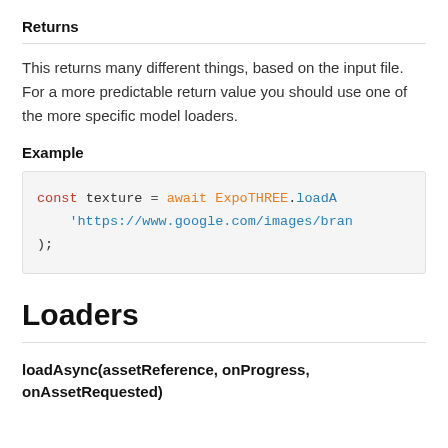Returns
This returns many different things, based on the input file. For a more predictable return value you should use one of the more specific model loaders.
Example
[Figure (screenshot): Code block showing: const texture = await ExpoTHREE.loadA
    'https://www.google.com/images/bran
);]
Loaders
loadAsync(assetReference, onProgress, onAssetRequested)